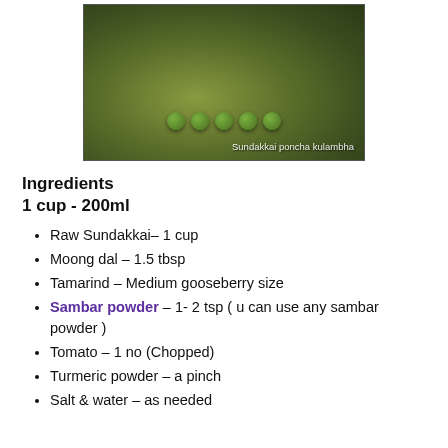[Figure (photo): A close-up photo of Sundakkai poncha kulambha (green pea-like vegetables in a greenish curry sauce). Text overlay reads: Sundakkai poncha kulambha]
Ingredients
1 cup - 200ml
Raw Sundakkai– 1 cup
Moong dal – 1.5 tbsp
Tamarind – Medium gooseberry size
Sambar powder – 1- 2 tsp ( u can use any sambar powder )
Tomato – 1 no (Chopped)
Turmeric powder – a pinch
Salt & water – as needed